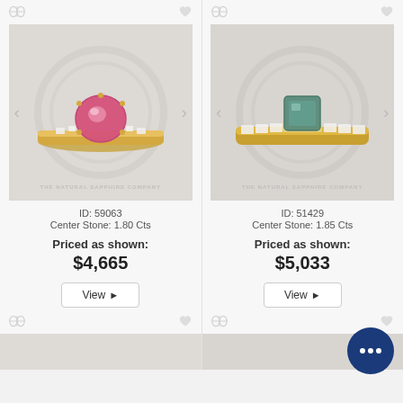[Figure (photo): Pink sapphire solitaire ring in yellow gold with baguette side stones, product ID 59063]
ID: 59063
Center Stone: 1.80 Cts
Priced as shown:
$4,665
[Figure (photo): Teal/blue-green sapphire halo ring in yellow gold with baguette diamonds, product ID 51429]
ID: 51429
Center Stone: 1.85 Cts
Priced as shown:
$5,033